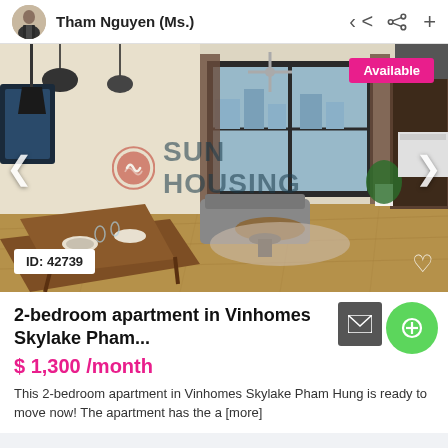Tham Nguyen (Ms.)
[Figure (photo): Interior photo of a 2-bedroom apartment in Vinhomes Skylake Pham Hung, showing a furnished living and dining area with wooden floors, large windows, ceiling lights, and a SUN HOUSING watermark. Shows 'Available' badge in top right and 'ID: 42739' badge in bottom left.]
2-bedroom apartment in Vinhomes Skylake Pham...
$ 1,300 /month
This 2-bedroom apartment in Vinhomes Skylake Pham Hung is ready to move now! The apartment has the a [more]